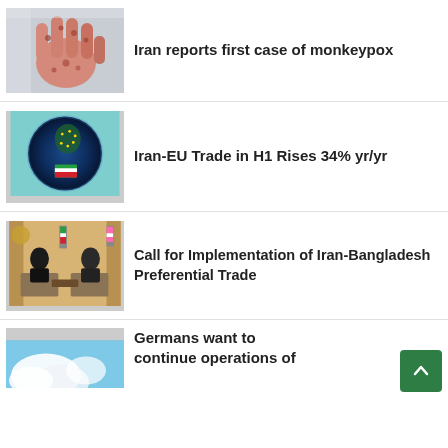[Figure (photo): A hand with monkeypox lesions/rash visible on the palm and fingers, held up against a blurred background]
Iran reports first case of monkeypox
[Figure (photo): A blue glowing Earth globe with European map highlighted and an Iranian flag on the surface]
Iran-EU Trade in H1 Rises 34% yr/yr
[Figure (photo): Two men in suits sitting across from each other in a formal meeting room with Iranian flags]
Call for Implementation of Iran-Bangladesh Preferential Trade
[Figure (photo): Blue sky with clouds, partial thumbnail visible at bottom]
Germans want to continue operations of